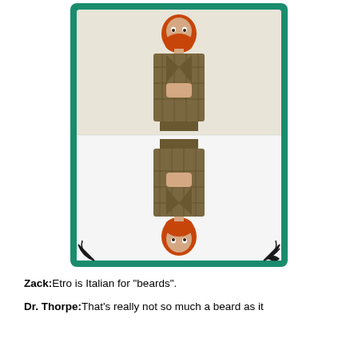[Figure (illustration): A playing card style illustration with a green border and decorative corner flourishes. The card shows a man with red/orange hair and beard wearing a brown plaid suit, shown right-side up in the top half and upside-down (mirrored) in the bottom half, like a traditional playing card design. The number '08' appears in green in the upper right corner.]
Zack: Etro is Italian for "beards".
Dr. Thorpe: That's really not so much a beard as it